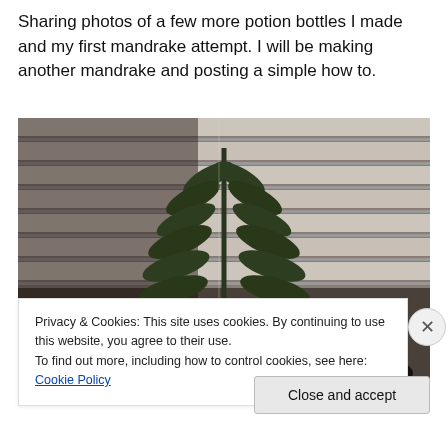Sharing photos of a few more potion bottles I made and my first mandrake attempt. I will be making another mandrake and posting a simple how to.
[Figure (photo): Dark photograph of a fern or mandrake plant with serrated leaves against horizontal window blinds in a dimly lit room. Bottom corners show dark objects.]
Privacy & Cookies: This site uses cookies. By continuing to use this website, you agree to their use.
To find out more, including how to control cookies, see here: Cookie Policy
Close and accept